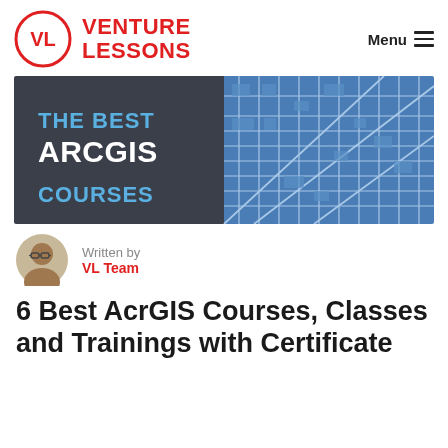VENTURE LESSONS — Menu
[Figure (illustration): Banner image with dark gray left half containing blue and white text 'THE BEST ARCGIS COURSES' and right half showing a blue street map illustration]
Written by
VL Team
6 Best AcrGIS Courses, Classes and Trainings with Certificate